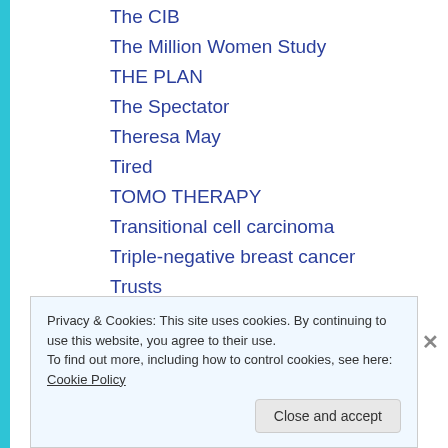The CIB
The Million Women Study
THE PLAN
The Spectator
Theresa May
Tired
TOMO THERAPY
Transitional cell carcinoma
Triple-negative breast cancer
Trusts
Tumour
TURP
Privacy & Cookies: This site uses cookies. By continuing to use this website, you agree to their use.
To find out more, including how to control cookies, see here: Cookie Policy
Close and accept